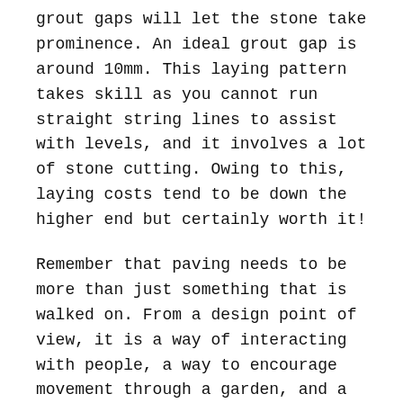grout gaps will let the stone take prominence. An ideal grout gap is around 10mm. This laying pattern takes skill as you cannot run straight string lines to assist with levels, and it involves a lot of stone cutting. Owing to this, laying costs tend to be down the higher end but certainly worth it!
Remember that paving needs to be more than just something that is walked on. From a design point of view, it is a way of interacting with people, a way to encourage movement through a garden, and a way to evoke emotional responses to a garden.
How we can help?